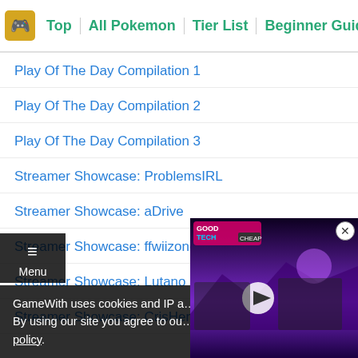Top | All Pokemon | Tier List | Beginner Guide | Held I…
Play Of The Day Compilation 1
Play Of The Day Compilation 2
Play Of The Day Compilation 3
Streamer Showcase: ProblemsIRL
Streamer Showcase: aDrive
Streamer Showcase: ffwiizone
Streamer Showcase: Lutano
Streamer Showcase: CrisHeroes…
[Figure (screenshot): Floating video popup showing two laptops with purple/neon retro wallpaper, with a GoodTechCheap logo overlay and a play button.]
GameWith uses cookies and IP a…
By using our site you agree to ou…
policy.